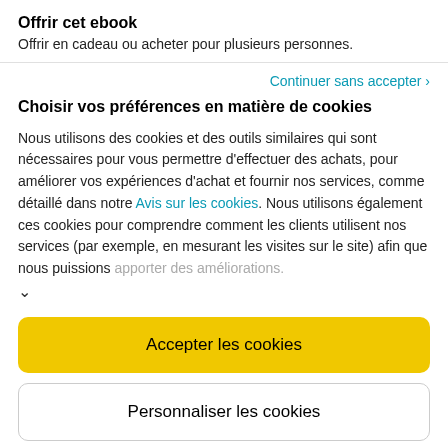Offrir cet ebook
Offrir en cadeau ou acheter pour plusieurs personnes.
Continuer sans accepter ›
Choisir vos préférences en matière de cookies
Nous utilisons des cookies et des outils similaires qui sont nécessaires pour vous permettre d'effectuer des achats, pour améliorer vos expériences d'achat et fournir nos services, comme détaillé dans notre Avis sur les cookies. Nous utilisons également ces cookies pour comprendre comment les clients utilisent nos services (par exemple, en mesurant les visites sur le site) afin que nous puissions apporter des améliorations.
Accepter les cookies
Personnaliser les cookies